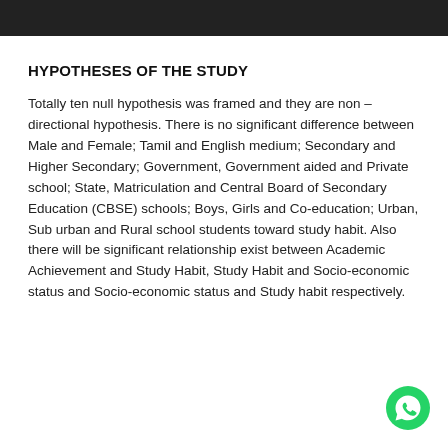HYPOTHESES OF THE STUDY
Totally ten null hypothesis was framed and they are non – directional hypothesis. There is no significant difference between Male and Female; Tamil and English medium; Secondary and Higher Secondary; Government, Government aided and Private school; State, Matriculation and Central Board of Secondary Education (CBSE) schools; Boys, Girls and Co-education; Urban, Sub urban and Rural school students toward study habit. Also there will be significant relationship exist between Academic Achievement and Study Habit, Study Habit and Socio-economic status and Socio-economic status and Study habit respectively.